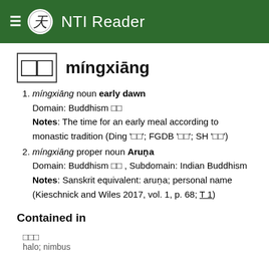NTI Reader
□□  míngxiāng
míngxiāng noun early dawn
Domain: Buddhism □□
Notes: The time for an early meal according to monastic tradition (Ding '□□'; FGDB '□□'; SH '□□')
míngxiāng proper noun Aruṇa
Domain: Buddhism □□ , Subdomain: Indian Buddhism
Notes: Sanskrit equivalent: aruṇa; personal name (Kieschnick and Wiles 2017, vol. 1, p. 68; T 1)
Contained in
□□□
halo; nimbus